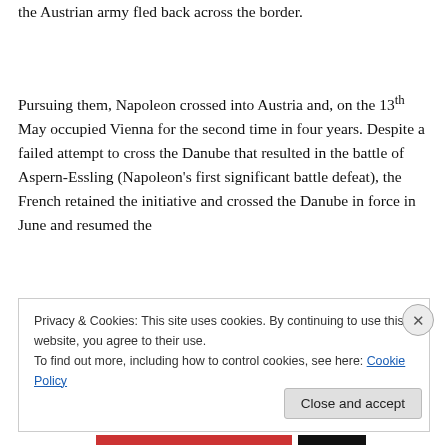the Austrian army fled back across the border.
Pursuing them, Napoleon crossed into Austria and, on the 13th May occupied Vienna for the second time in four years. Despite a failed attempt to cross the Danube that resulted in the battle of Aspern-Essling (Napoleon's first significant battle defeat), the French retained the initiative and crossed the Danube in force in June and resumed the
Privacy & Cookies: This site uses cookies. By continuing to use this website, you agree to their use.
To find out more, including how to control cookies, see here: Cookie Policy
Close and accept